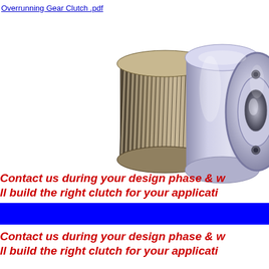Overrunning Gear Clutch .pdf
[Figure (illustration): 3D CAD rendering of an overrunning gear clutch component showing a helical gear integrated with a cylindrical clutch body with a central bore and mounting holes, rendered in metallic silver/gray tones]
Contact us during your design phase & we'll build the right clutch for your application